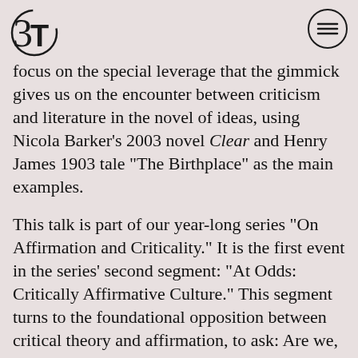3T logo and menu button
focus on the special leverage that the gimmick gives us on the encounter between criticism and literature in the novel of ideas, using Nicola Barker’s 2003 novel Clear and Henry James 1903 tale “The Birthplace” as the main examples.
This talk is part of our year-long series “On Affirmation and Criticality.” It is the first event in the series’ second segment: “At Odds: Critically Affirmative Culture.” This segment turns to the foundational opposition between critical theory and affirmation, to ask: Are we, as critical theorists, attached to keeping ourselves at odds with the world, perhaps at